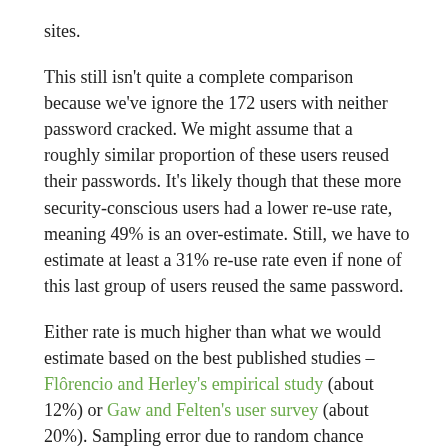sites.
This still isn't quite a complete comparison because we've ignore the 172 users with neither password cracked. We might assume that a roughly similar proportion of these users reused their passwords. It's likely though that these more security-conscious users had a lower re-use rate, meaning 49% is an over-estimate. Still, we have to estimate at least a 31% re-use rate even if none of this last group of users reused the same password.
Either rate is much higher than what we would estimate based on the best published studies – Flôrencio and Herley's empirical study (about 12%) or Gaw and Felten's user survey (about 20%). Sampling error due to random chance shouldn't be more than about ±5%, which can't explain the difference. It could be that users are much more likely to reuse a password between Gawker and rootkit.com, since both protect access to forums and are of